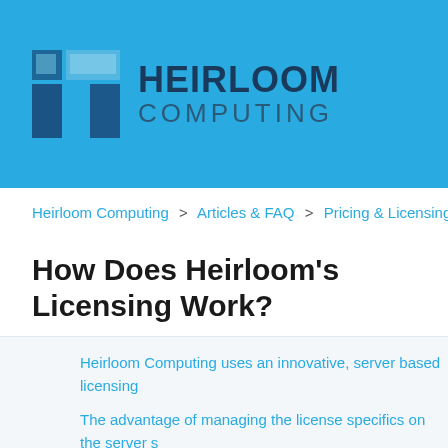[Figure (logo): Heirloom Computing logo with blue geometric icon and company name in dark blue text on light blue background]
Heirloom Computing > Articles & FAQ > Pricing & Licensing
How Does Heirloom's Licensing Work?
Heirloom Computing uses an innovative, server based licensing
The advantage of managing the license specifics on the server s between machines and also enables simple deployment of appli